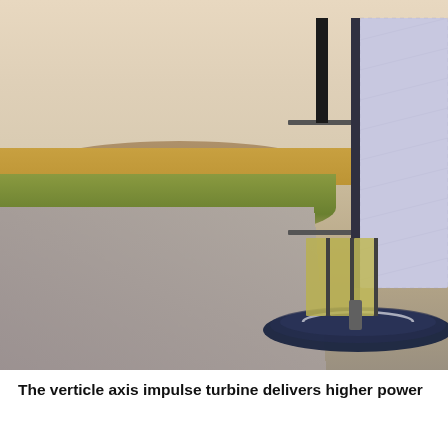[Figure (illustration): A vertical axis wind turbine (impulse turbine) with tall rectangular blade panels and a circular base platform, positioned on a roadside in a rural landscape with dry grassland fields, a road in the foreground, and a pale warm sky. The turbine is partially cropped on the right side of the image.]
The verticle axis impulse turbine delivers higher power